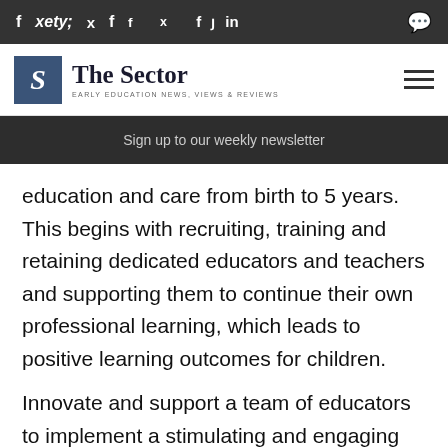f  y  in  [chat icon]
[Figure (logo): The Sector logo — blue box with italic S, text 'The Sector', subtitle 'EARLY EDUCATION NEWS, VIEWS & REVIEWS']
Sign up to our weekly newsletter
education and care from birth to 5 years. This begins with recruiting, training and retaining dedicated educators and teachers and supporting them to continue their own professional learning, which leads to positive learning outcomes for children.
Innovate and support a team of educators to implement a stimulating and engaging program at Community Kids Mount Gambier. This teaching position is a maternity leave contract until